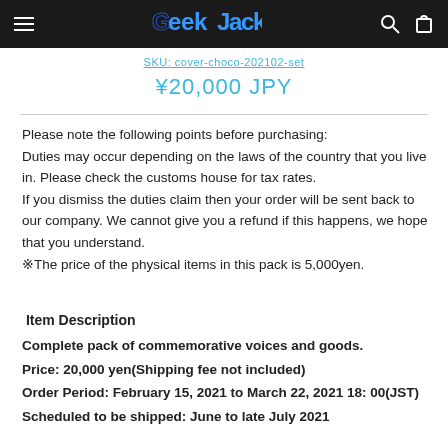Geek Jack
SKU: cover-choco-202102-set
¥20,000 JPY
Please note the following points before purchasing:
Duties may occur depending on the laws of the country that you live in. Please check the customs house for tax rates.
If you dismiss the duties claim then your order will be sent back to our company. We cannot give you a refund if this happens, we hope that you understand.
※The price of the physical items in this pack is 5,000yen.
Item Description
Complete pack of commemorative voices and goods.
Price: 20,000 yen(Shipping fee not included)
Order Period: February 15, 2021 to March 22, 2021 18: 00(JST)
Scheduled to be shipped: June to late July 2021